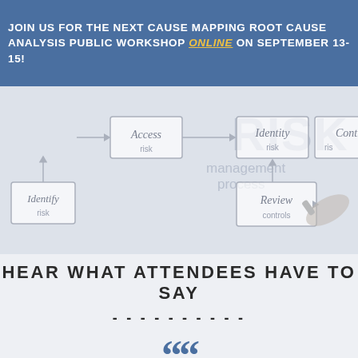JOIN US FOR THE NEXT CAUSE MAPPING ROOT CAUSE ANALYSIS PUBLIC WORKSHOP ONLINE ON SEPTEMBER 13-15!
[Figure (illustration): Risk management process diagram showing interconnected boxes labeled: Access risk, Identify risk, Identity risk, Review controls, Control risk, with large text 'RISK management process' and a hand writing with a pen]
HEAR WHAT ATTENDEES HAVE TO SAY
- - - - - - - - - -
““